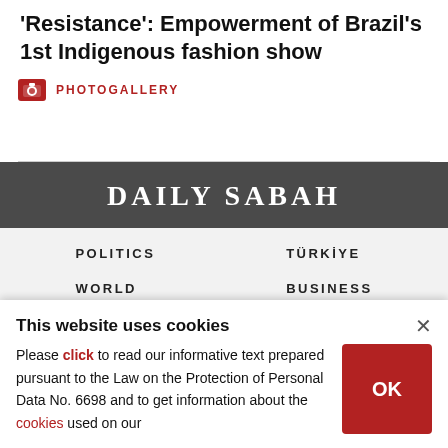'Resistance': Empowerment of Brazil's 1st Indigenous fashion show
PHOTOGALLERY
DAILY SABAH
POLITICS
TÜRKİYE
WORLD
BUSINESS
This website uses cookies
Please click to read our informative text prepared pursuant to the Law on the Protection of Personal Data No. 6698 and to get information about the cookies used on our